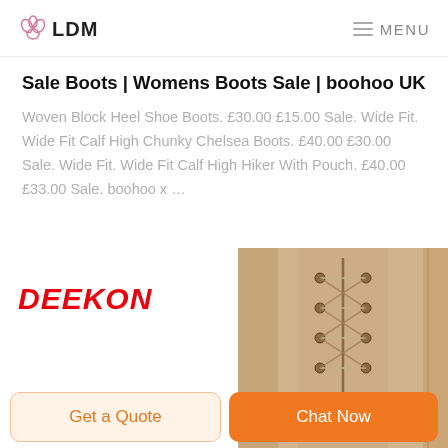LDM  MENU
Sale Boots | Womens Boots Sale | boohoo UK
Woven Block Heel Shoe Boots. £30.00 £15.00 Sale. Wide Fit. Wide Fit Calf High Chunky Chelsea Boots. £40.00 £30.00 Sale. Wide Fit. Wide Fit Calf High Hiker With Pouch. £40.00 £33.00 Sale. boohoo x …
[Figure (logo): DEEKON logo in bold red italic text]
[Figure (photo): Close-up photo of a tan/beige lace-up boot showing laces and eyelets]
Get a Quote
Chat Now